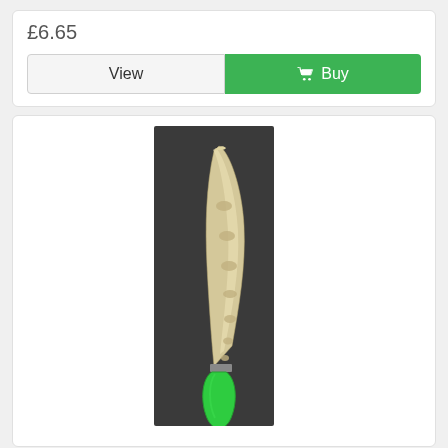£6.65
View
Buy
[Figure (photo): A kitchen knife with a green handle and a curved stainless steel blade with fluted/granton edge scallops, photographed against a dark background.]